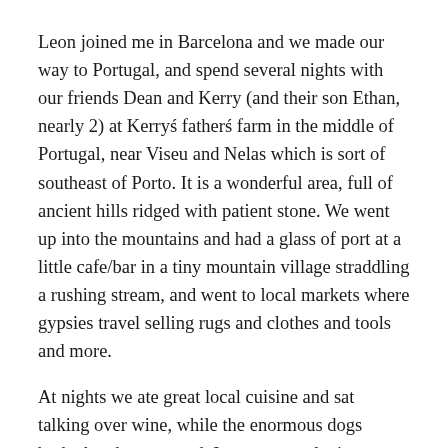Leon joined me in Barcelona and we made our way to Portugal, and spend several nights with our friends Dean and Kerry (and their son Ethan, nearly 2) at Kerryś fatherś farm in the middle of Portugal, near Viseu and Nelas which is sort of southeast of Porto. It is a wonderful area, full of ancient hills ridged with patient stone. We went up into the mountains and had a glass of port at a little cafe/bar in a tiny mountain village straddling a rushing stream, and went to local markets where gypsies travel selling rugs and clothes and tools and more.
At nights we ate great local cuisine and sat talking over wine, while the enormous dogs barked and ran around. It was very relaxing. Cheers to Badal and Devamani for their hospitality, and to Dean and Kerry for coming to Portugal!